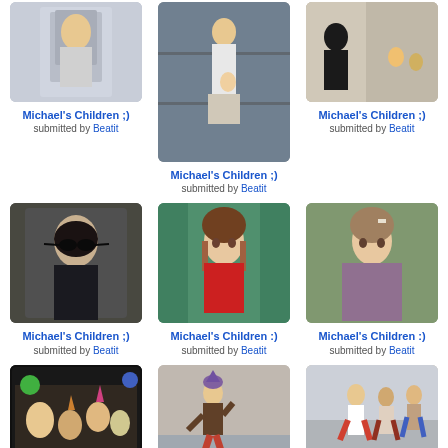[Figure (photo): Photo of Michael Jackson's children on a balcony, child wrapped in cloth]
Michael's Children ;)
submitted by Beatit
[Figure (photo): Photo of Michael Jackson dangling baby over balcony]
Michael's Children ;)
submitted by Beatit
[Figure (photo): Photo of Michael Jackson walking with children on street]
Michael's Children ;)
submitted by Beatit
[Figure (photo): Photo of Michael Jackson in black jacket and sunglasses]
Michael's Children ;)
submitted by Beatit
[Figure (photo): Photo of a child with brown hair in red shirt]
Michael's Children :)
submitted by Beatit
[Figure (photo): Photo of a girl with hair clip in purple jacket]
Michael's Children :)
submitted by Beatit
[Figure (photo): Photo of Michael Jackson with children at birthday party]
Michael's Children :)
submitted by Beatit
[Figure (photo): Photo of children dancing/playing]
Michael's Children :)
submitted by Beatit
[Figure (photo): Photo of children walking in a mall/outdoor area]
Michael's Children :)
submitted by Beatit